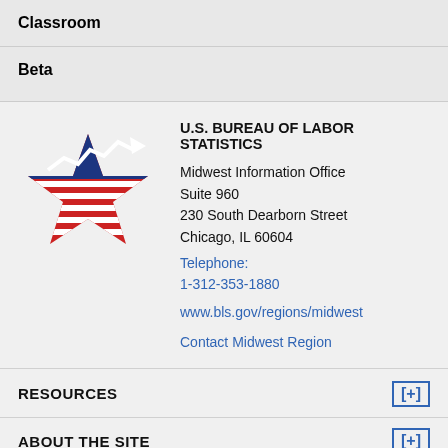Classroom
Beta
[Figure (logo): U.S. Bureau of Labor Statistics logo: a red star with horizontal red stripes and a blue chart line arrow on top]
U.S. BUREAU OF LABOR STATISTICS
Midwest Information Office
Suite 960
230 South Dearborn Street
Chicago, IL 60604
Telephone: 1-312-353-1880
www.bls.gov/regions/midwest
Contact Midwest Region
RESOURCES
ABOUT THE SITE